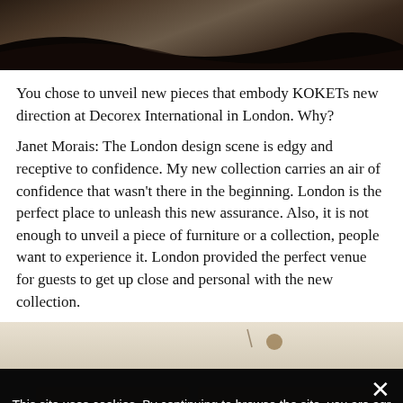[Figure (photo): Dark textured wood surface photo at the top of the page with black curved shapes/stripes]
You chose to unveil new pieces that embody KOKETs new direction at Decorex International in London. Why?
Janet Morais: The London design scene is edgy and receptive to confidence. My new collection carries an air of confidence that wasn't there in the beginning. London is the perfect place to unleash this new assurance. Also, it is not enough to unveil a piece of furniture or a collection, people want to experience it. London provided the perfect venue for guests to get up close and personal with the new collection.
[Figure (photo): Light beige surface with small decorative golden object visible]
This site uses cookies. By continuing to browse the site, you are agr... use of cookies.
Agree